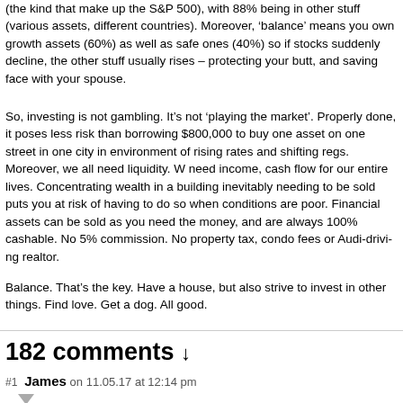(the kind that make up the S&P 500), with 88% being in other stuff (various assets, different countries). Moreover, 'balance' means you own growth assets (60%) as well as safe ones (40%) so if stocks suddenly decline, the other stuff usually rises – protecting your butt, and saving face with your spouse.
So, investing is not gambling. It's not 'playing the market'. Properly done, it poses less risk than borrowing $800,000 to buy one asset on one street in one city in an environment of rising rates and shifting regs. Moreover, we all need liquidity. We need income, cash flow for our entire lives. Concentrating wealth in a building inevitably needing to be sold puts you at risk of having to do so when conditions are poor. Financial assets can be sold as you need the money, and are always 100% cashable. No 5% commission. No property tax, condo fees or Audi-driving realtor.
Balance. That's the key. Have a house, but also strive to invest in other things. Find love. Get a dog. All good.
182 comments ↓
#1 James on 11.05.17 at 12:14 pm